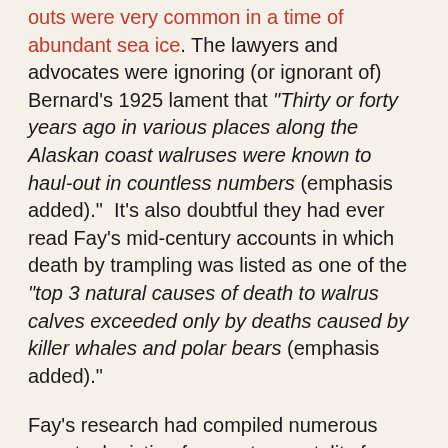outs were very common in a time of abundant sea ice. The lawyers and advocates were ignoring (or ignorant of) Bernard's 1925 lament that "Thirty or forty years ago in various places along the Alaskan coast walruses were known to haul-out in countless numbers (emphasis added)." It's also doubtful they had ever read Fay's mid-century accounts in which death by trampling was listed as one of the "top 3 natural causes of death to walrus calves exceeded only by deaths caused by killer whales and polar bears (emphasis added)."
Fay's research had compiled numerous reports depicting far greater mortality from trampling. Those deadly events happened when animals either hauled out in panic when pursued by killer whales, or when stampeded by attacking polar bears or humans. For example, in 1975, researchers reported a large number of dead animals during a stampede from a traditional hauling ground at Cape Blossom on